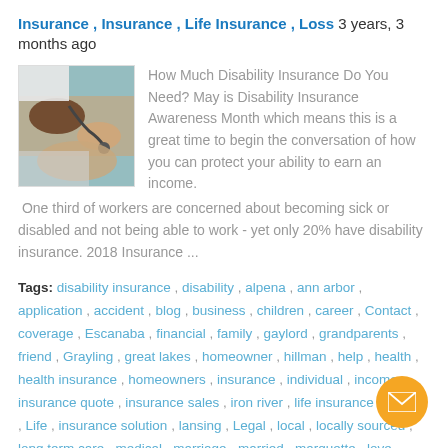Insurance , Insurance , Life Insurance , Loss 3 years, 3 months ago
[Figure (photo): Medical professional examining a patient's leg/foot with stethoscope]
How Much Disability Insurance Do You Need? May is Disability Insurance Awareness Month which means this is a great time to begin the conversation of how you can protect your ability to earn an income.  One third of workers are concerned about becoming sick or disabled and not being able to work - yet only 20% have disability insurance. 2018 Insurance ...
Tags: disability insurance , disability , alpena , ann arbor , application , accident , blog , business , children , career , Contact , coverage , Escanaba , financial , family , gaylord , grandparents , friend , Grayling , great lakes , homeowner , hillman , help , health , health insurance , homeowners , insurance , individual , income , insurance quote , insurance sales , iron river , life insurance , liability , Life , insurance solution , lansing , Legal , local , locally sourced , long term care , medical , marriage , married , marquette , love ,